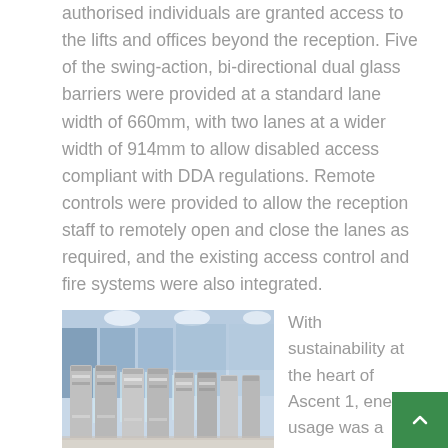authorised individuals are granted access to the lifts and offices beyond the reception. Five of the swing-action, bi-directional dual glass barriers were provided at a standard lane width of 660mm, with two lanes at a wider width of 914mm to allow disabled access compliant with DDA regulations. Remote controls were provided to allow the reception staff to remotely open and close the lanes as required, and the existing access control and fire systems were also integrated.
[Figure (photo): Photo of stainless steel swing-action bi-directional dual glass barriers in a building reception area with glass panels visible in the background]
With sustainability at the heart of Ascent 1, energy usage was a consideration for the building